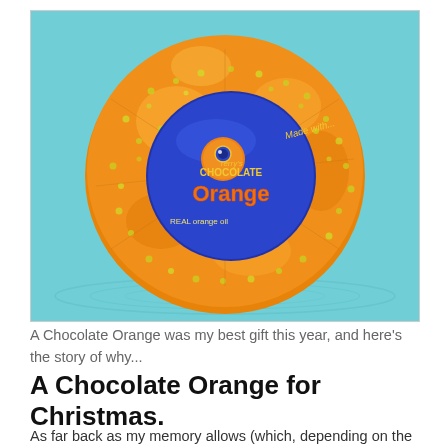[Figure (photo): A Terry's Chocolate Orange wrapped in its orange and yellow foil packaging with a blue circular label in the centre reading 'Terry's Chocolate Orange' and 'Made with... REAL orange oil', placed on a light blue background.]
A Chocolate Orange was my best gift this year, and here's the story of why...
A Chocolate Orange for Christmas.
As far back as my memory allows (which, depending on the day, could be 41 years, or